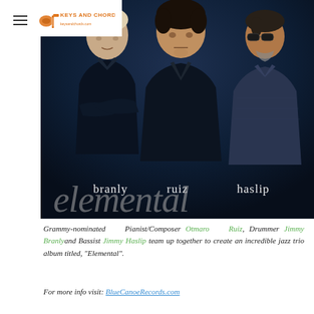Keys and Chords
[Figure (photo): Three musicians standing against a dark blue background — three men dressed in dark clothing. Text overlay shows their names: branly, ruiz, haslip, and the album title 'elemental' in large script font across the lower portion of the image.]
Grammy-nominated Pianist/Composer Otmaro Ruiz, Drummer Jimmy Branly and Bassist Jimmy Haslip team up together to create an incredible jazz trio album titled, "Elemental".
For more info visit: BlueCanoeRecords.com